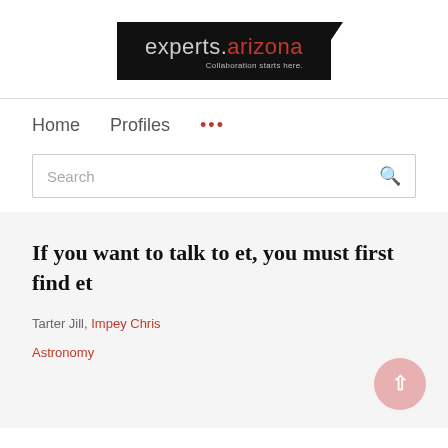[Figure (logo): experts.arizona logo on black background with tagline 'Collaboration starts here.']
Home   Profiles   ...
Search
If you want to talk to et, you must first find et
Tarter Jill, Impey Chris
Astronomy